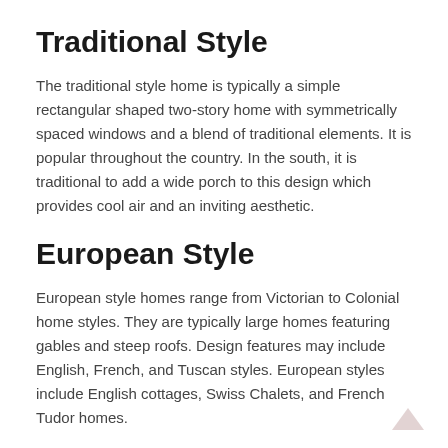Traditional Style
The traditional style home is typically a simple rectangular shaped two-story home with symmetrically spaced windows and a blend of traditional elements. It is popular throughout the country. In the south, it is traditional to add a wide porch to this design which provides cool air and an inviting aesthetic.
European Style
European style homes range from Victorian to Colonial home styles. They are typically large homes featuring gables and steep roofs. Design features may include English, French, and Tuscan styles. European styles include English cottages, Swiss Chalets, and French Tudor homes.